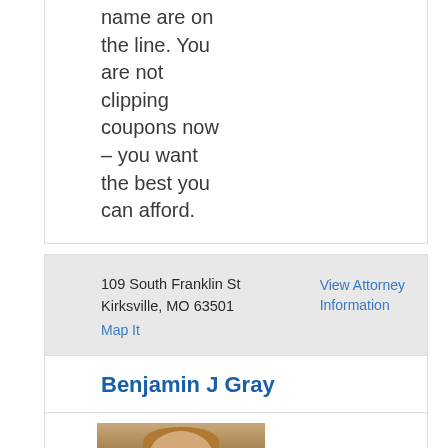name are on the line. You are not clipping coupons now – you want the best you can afford.
109 South Franklin St
Kirksville, MO 63501
Map It
View Attorney Information
Benjamin J Gray
[Figure (photo): Headshot photo of attorney Benjamin J Gray]